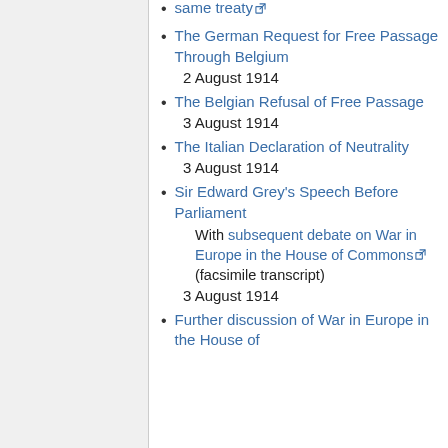same treaty [external link]
The German Request for Free Passage Through Belgium
2 August 1914
The Belgian Refusal of Free Passage
3 August 1914
The Italian Declaration of Neutrality
3 August 1914
Sir Edward Grey's Speech Before Parliament
With subsequent debate on War in Europe in the House of Commons [external link] (facsimile transcript)
3 August 1914
Further discussion of War in Europe in the House of...